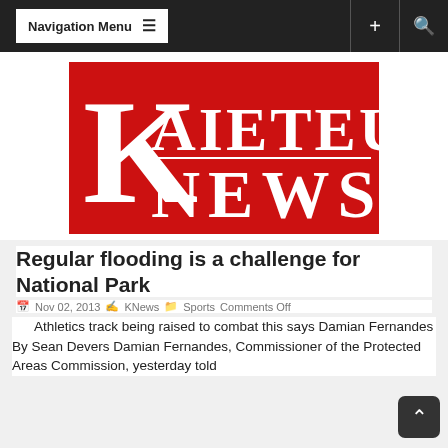Navigation Menu
[Figure (logo): Kaieteur News logo — white serif text on a red background. Large stylized 'K' on the left, with 'AIETEUR' and 'NEWS' in white serif capitals.]
Regular flooding is a challenge for National Park
Nov 02, 2013  KNews  Sports  Comments Off
Athletics track being raised to combat this says Damian Fernandes By Sean Devers Damian Fernandes, Commissioner of the Protected Areas Commission, yesterday told